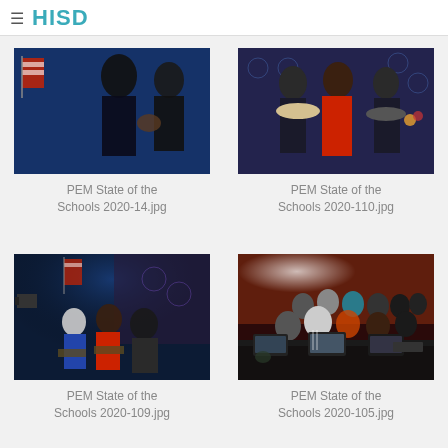≡ HISD
[Figure (photo): PEM State of the Schools 2020-14.jpg — Two people on stage, one gesturing, American flag in background, blue lighting]
PEM State of the Schools 2020-14.jpg
[Figure (photo): PEM State of the Schools 2020-110.jpg — Three people posing holding cowboy hats, one in red dress, decorative backdrop]
PEM State of the Schools 2020-110.jpg
[Figure (photo): PEM State of the Schools 2020-109.jpg — Panel discussion on stage with people seated, American flag, decorative backdrop, blue lighting]
PEM State of the Schools 2020-109.jpg
[Figure (photo): PEM State of the Schools 2020-105.jpg — Group of people gathered around table with laptops, media crew in dark room]
PEM State of the Schools 2020-105.jpg